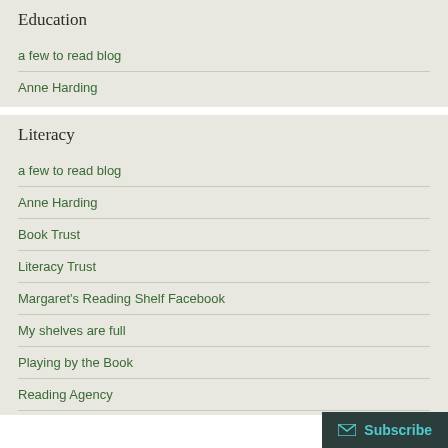Education
a few to read blog
Anne Harding
Literacy
a few to read blog
Anne Harding
Book Trust
Literacy Trust
Margaret's Reading Shelf Facebook
My shelves are full
Playing by the Book
Reading Agency
Subscribe